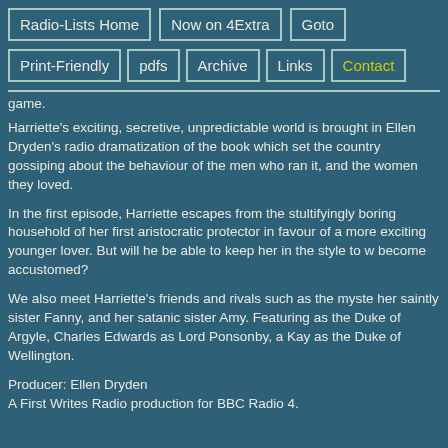Radio-Lists Home | Now on 4Extra | Goto
Print-Friendly | pdfs | Archive | Links | Contact
game.
Harriette's exciting, secretive, unpredictable world is brought in Ellen Dryden's radio dramatization of the book which set the country gossiping about the behaviour of the men who ran it, and the women they loved.
In the first episode, Harriette escapes from the stultifyingly boring household of her first aristocratic protector in favour of a more exciting younger lover. But will he be able to keep her in the style to which she has become accustomed?
We also meet Harriette's friends and rivals such as the mysterious..., her saintly sister Fanny, and her satanic sister Amy. Featuring... as the Duke of Argyle, Charles Edwards as Lord Ponsonby, and... Kay as the Duke of Wellington.
Producer: Ellen Dryden
A First Writes Radio production for BBC Radio 4.